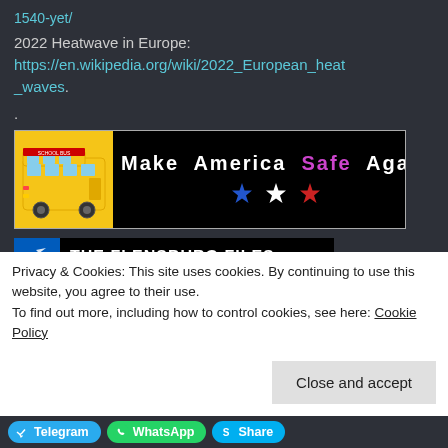1540-yet/
2022 Heatwave in Europe: https://en.wikipedia.org/wiki/2022_European_heat_waves.
.
[Figure (illustration): Make America Safe Again banner with school bus on left, text in center with blue, white, red stars, and a no-guns symbol on the right]
[Figure (logo): The Flensburg Files logo with Ukrainian flag icon and white text on black background]
Privacy & Cookies: This site uses cookies. By continuing to use this website, you agree to their use.
To find out more, including how to control cookies, see here: Cookie Policy
Close and accept
Telegram  WhatsApp  Share